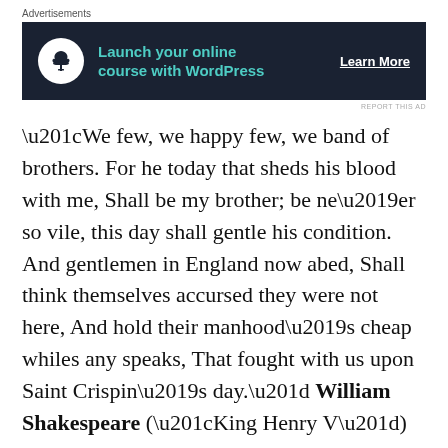Advertisements
[Figure (infographic): Dark navy advertisement banner with a white circular icon showing a bonsai tree symbol, teal bold text reading 'Launch your online course with WordPress', and a white underlined 'Learn More' call-to-action button on the right.]
“We few, we happy few, we band of brothers. For he today that sheds his blood with me, Shall be my brother; be ne’er so vile, this day shall gentle his condition. And gentlemen in England now abed, Shall think themselves accursed they were not here, And hold their manhood’s cheap whiles any speaks, That fought with us upon Saint Crispin’s day.” William Shakespeare (“King Henry V”)